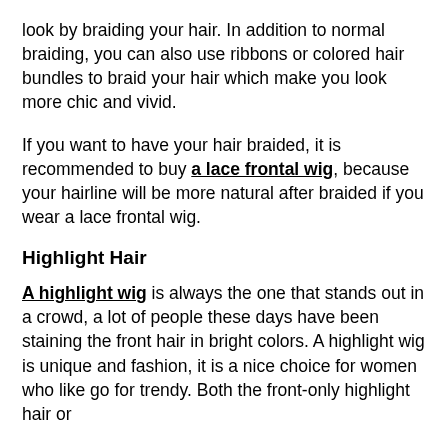look by braiding your hair. In addition to normal braiding, you can also use ribbons or colored hair bundles to braid your hair which make you look more chic and vivid.
If you want to have your hair braided, it is recommended to buy a lace frontal wig, because your hairline will be more natural after braided if you wear a lace frontal wig.
Highlight Hair
A highlight wig is always the one that stands out in a crowd, a lot of people these days have been staining the front hair in bright colors. A highlight wig is unique and fashion, it is a nice choice for women who like go for trendy. Both the front-only highlight hair or